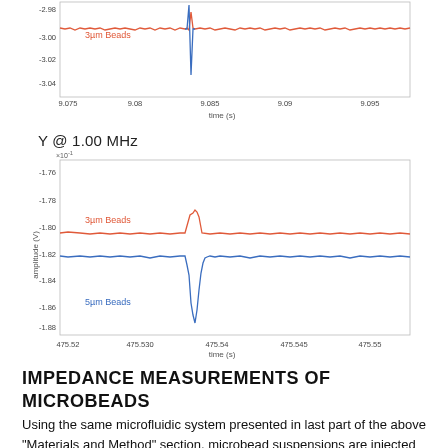[Figure (continuous-plot): Top waveform chart showing amplitude vs time for 3µm Beads at some frequency. Y-axis shows amplitude values around -2.98 to -2.94, x-axis shows time from ~9.075 to 9.095 s. Red line is 3µm Beads with a dip-spike event near t=9.085.]
Y @ 1.00 MHz
[Figure (continuous-plot): Waveform chart titled Y @ 1.00 MHz. Y-axis in x10^-1 scale, amplitude from about -1.76 to -1.98 V. X-axis time from ~475.52 to 475.55 s. Red line labeled 3µm Beads near -1.80, blue line labeled 5µm Beads near -1.92, with a large spike/dip event near t=475.54.]
IMPEDANCE MEASUREMENTS OF MICROBEADS
Using the same microfluidic system presented in last part of the above “Materials and Method” section,  microbead suspensions are injected into the EIS chip, where beads pass electrodes pairs corresponding the series of diodes also the in